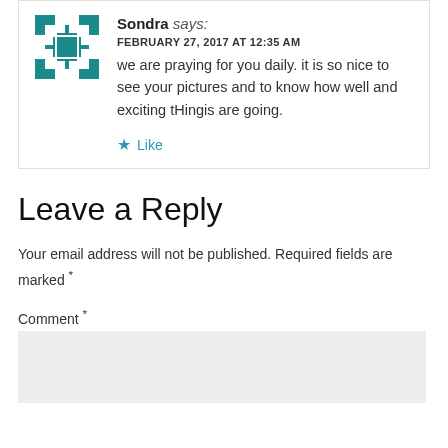Sondra says: FEBRUARY 27, 2017 AT 12:35 AM — we are praying for you daily. it is so nice to see your pictures and to know how well and exciting tHingis are going.
★ Like
Leave a Reply
Your email address will not be published. Required fields are marked *
Comment *